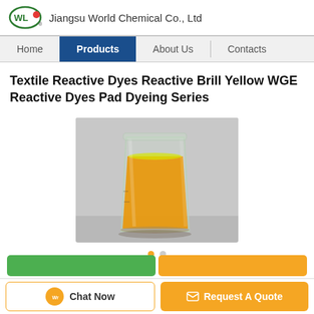Jiangsu World Chemical Co., Ltd
Home | Products | About Us | Contacts
Textile Reactive Dyes Reactive Brill Yellow WGE Reactive Dyes Pad Dyeing Series
[Figure (photo): A glass beaker containing bright orange/yellow liquid dye solution, photographed against a light gray background.]
Chat Now | Request A Quote